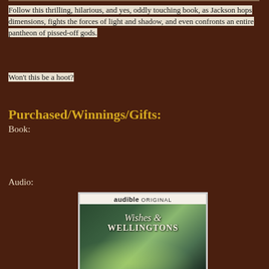Follow this thrilling, hilarious, and yes, oddly touching book, as Jackson hops dimensions, fights the forces of light and shadow, and even confronts an entire pantheon of pissed-off gods.
Won't this be a hoot?
Purchased/Winnings/Gifts:
Book:
Audio:
[Figure (illustration): Audible Original audiobook cover for 'Wishes & Wellingtons' showing a girl with green magical smoke swirling around her, with other figures in the background. The top of the cover shows 'audible ORIGINAL' branding.]